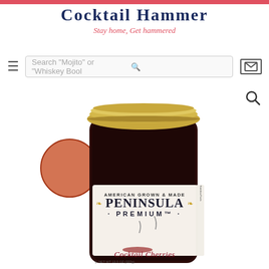COCKTAIL HAMMER — Stay home, Get hammered
Search "Mojito" or "Whiskey Bool"
[Figure (photo): Peninsula Premium Cocktail Cherries jar with gold lid, label showing 'AMERICAN GROWN & MADE PENINSULA PREMIUM Cocktail Cherries', with dark cherries on the label and a cocktail glass partially visible on the left. NET WT 13.5 OZ (337g).]